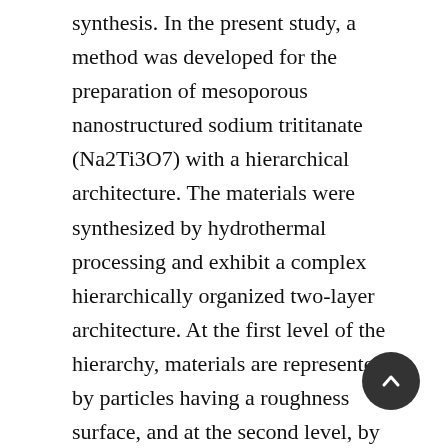synthesis. In the present study, a method was developed for the preparation of mesoporous nanostructured sodium trititanate (Na2Ti3O7) with a hierarchical architecture. The materials were synthesized by hydrothermal processing and exhibit a complex hierarchically organized two-layer architecture. At the first level of the hierarchy, materials are represented by particles having a roughness surface, and at the second level, by one-dimensional nanotubes. The products were found to have high specific surface area and porosity with a narrow pore size distribution (about 6 nm). As it is known, the specific surface area and porosity are important characteristics of functional materials, which largely determine the possibilities and directions of their practical application. Electrochemical impedance spectroscopy data show that the resulting sodium trititanate has a sufficiently high electrical